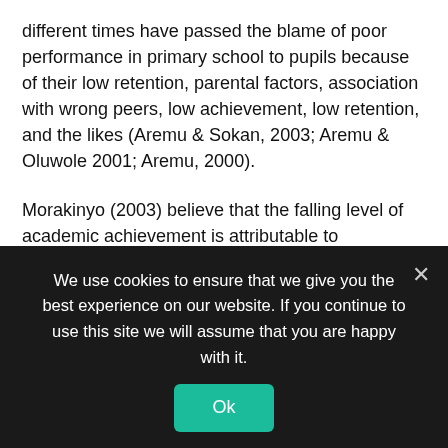different times have passed the blame of poor performance in primary school to pupils because of their low retention, parental factors, association with wrong peers, low achievement, low retention, and the likes (Aremu & Sokan, 2003; Aremu & Oluwole 2001; Aremu, 2000).
Morakinyo (2003) believe that the falling level of academic achievement is attributable to teacher’s non-use of verbal reinforcement strategy. Others found out that the attitude of some teachers to their job is reflected in their poor attendance to lessons, lateness to school, unsavory comments about pupil’s performance that could damage their ego, poor method of teaching and the likes affect pupils’ academic performance.
The question therefore is what is the cause 🖇 of this fallen standard and poor academic performance of pupils? Is the fault entirely that of
We use cookies to ensure that we give you the best experience on our website. If you continue to use this site we will assume that you are happy with it.